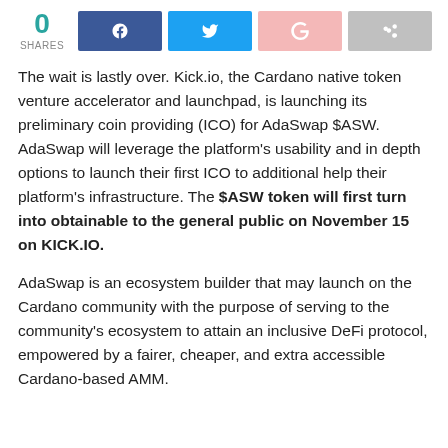[Figure (infographic): Social sharing bar with 0 shares count and four social media buttons: Facebook (blue), Twitter (light blue), Google+ (pink), and a share button (gray)]
The wait is lastly over. Kick.io, the Cardano native token venture accelerator and launchpad, is launching its preliminary coin providing (ICO) for AdaSwap $ASW. AdaSwap will leverage the platform's usability and in depth options to launch their first ICO to additional help their platform's infrastructure. The $ASW token will first turn into obtainable to the general public on November 15 on KICK.IO.
AdaSwap is an ecosystem builder that may launch on the Cardano community with the purpose of serving to the community's ecosystem to attain an inclusive DeFi protocol, empowered by a fairer, cheaper, and extra accessible Cardano-based AMM.